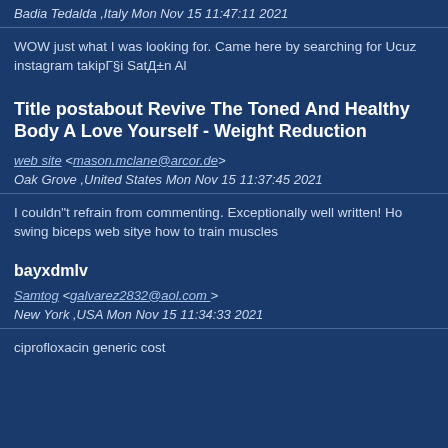Badia Tedalda ,Italy Mon Nov 15 11:47:11 2021
WOW just what I was looking for. Came here by searching for Ucuz instagram takipГ§i SatД±n Al
Title postabout Revive The Toned And Healthy Body A Love Yourself - Weight Reduction
web site <mason.mclane@arcor.de> Oak Grove ,United States Mon Nov 15 11:37:45 2021
I couldn"t refrain from commenting. Exceptionally well written! Ho swing biceps web sitye how to train muscles
bayxdmlv
Samtog <galvarez2832@aol.com > New York ,USA Mon Nov 15 11:34:33 2021
ciprofloxacin generic cost